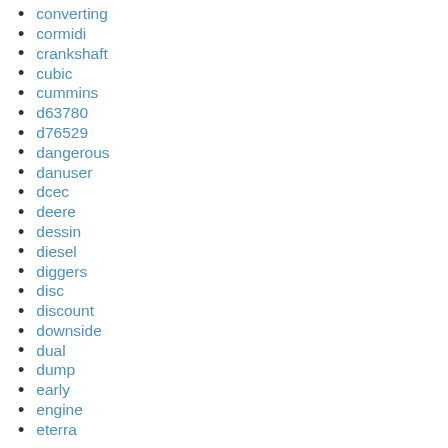converting
cormidi
crankshaft
cubic
cummins
d63780
d76529
dangerous
danuser
dcec
deere
dessin
diesel
diggers
disc
discount
downside
dual
dump
early
engine
eterra